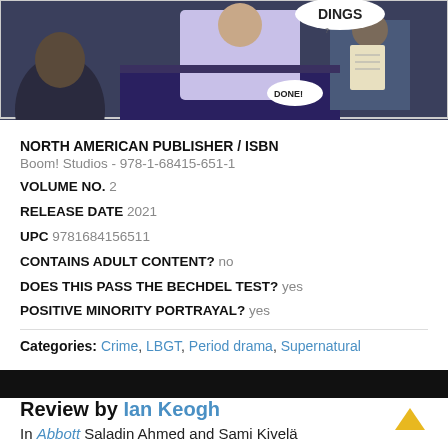[Figure (illustration): Comic book panel showing characters at a desk with speech bubbles saying 'DINGS' and 'DONE!']
NORTH AMERICAN PUBLISHER / ISBN
Boom! Studios - 978-1-68415-651-1
VOLUME NO. 2
RELEASE DATE 2021
UPC 9781684156511
CONTAINS ADULT CONTENT? no
DOES THIS PASS THE BECHDEL TEST? yes
POSITIVE MINORITY PORTRAYAL? yes
Categories: Crime, LBGT, Period drama, Supernatural
Review by Ian Keogh
In Abbott Saladin Ahmed and Sami Kivelä